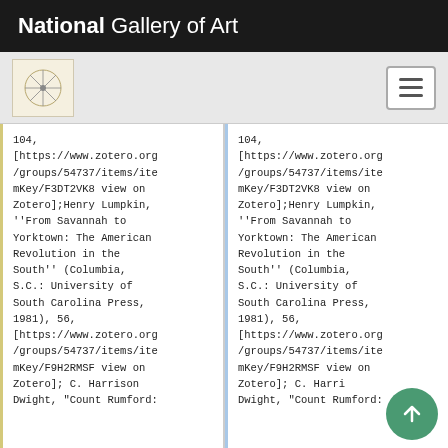National Gallery of Art
104, [https://www.zotero.org/groups/54737/items/itemKey/F3DT2VK8 view on Zotero];Henry Lumpkin, ''From Savannah to Yorktown: The American Revolution in the South'' (Columbia, S.C.: University of South Carolina Press, 1981), 56, [https://www.zotero.org/groups/54737/items/itemKey/F9H2RMSF view on Zotero]; C. Harrison Dwight, "Count Rumford:
104, [https://www.zotero.org/groups/54737/items/itemKey/F3DT2VK8 view on Zotero];Henry Lumpkin, ''From Savannah to Yorktown: The American Revolution in the South'' (Columbia, S.C.: University of South Carolina Press, 1981), 56, [https://www.zotero.org/groups/54737/items/itemKey/F9H2RMSF view on Zotero]; C. Harrison Dwight, "Count Rumford: